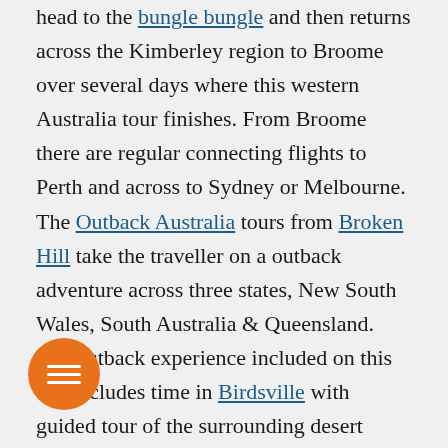head to the bungle bungle and then returns across the Kimberley region to Broome over several days where this western Australia tour finishes. From Broome there are regular connecting flights to Perth and across to Sydney or Melbourne. The Outback Australia tours from Broken Hill take the traveller on a outback adventure across three states, New South Wales, South Australia & Queensland. The outback experience included on this trip includes time in Birdsville with guided tour of the surrounding desert environments, before returning back along the Birdsville track to Broken hill via Aarkoroola.

At the moment Odyssey does not offer adventure tours to Uluru (Ayers rock) or Cairns to reach the Great reef. There are many many choices of tour operators who can provide experiences such as an